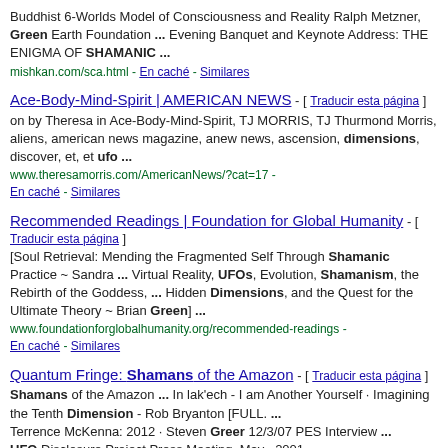Buddhist 6-Worlds Model of Consciousness and Reality Ralph Metzner, Green Earth Foundation ... Evening Banquet and Keynote Address: THE ENIGMA OF SHAMANIC ... mishkan.com/sca.html - En caché - Similares
Ace-Body-Mind-Spirit | AMERICAN NEWS - [ Traducir esta página ] on by Theresa in Ace-Body-Mind-Spirit, TJ MORRIS, TJ Thurmond Morris, aliens, american news magazine, anew news, ascension, dimensions, discover, et, et ufo ... www.theresamorris.com/AmericanNews/?cat=17 - En caché - Similares
Recommended Readings | Foundation for Global Humanity - [ Traducir esta página ] [Soul Retrieval: Mending the Fragmented Self Through Shamanic Practice ~ Sandra ... Virtual Reality, UFOs, Evolution, Shamanism, the Rebirth of the Goddess, ... Hidden Dimensions, and the Quest for the Ultimate Theory ~ Brian Green] ... www.foundationforglobalhumanity.org/recommended-readings - En caché - Similares
Quantum Fringe: Shamans of the Amazon - [ Traducir esta página ] Shamans of the Amazon ... In lak'ech - I am Another Yourself · Imagining the Tenth Dimension - Rob Bryanton [FULL. ... Terrence McKenna: 2012 · Steven Greer 12/3/07 PES Interview ... UFO Disclosure Project Press Meeting, May , 2001 ... www.quantumfringe.com/.../shamans-of-amazon.html -